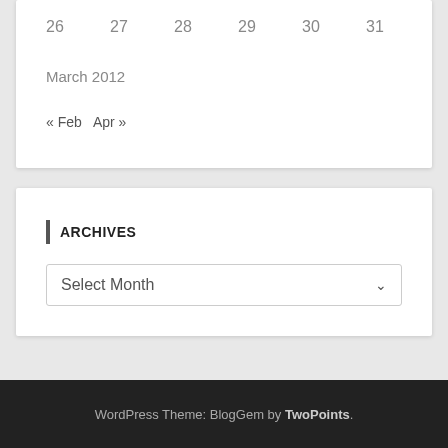26  27  28  29  30  31
March 2012
« Feb   Apr »
ARCHIVES
Select Month
WordPress Theme: BlogGem by TwoPoints.